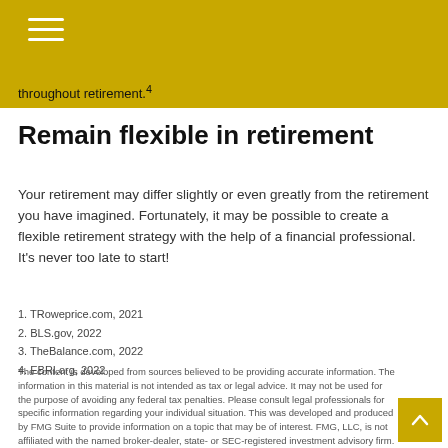throughout retirement.⁴
Remain flexible in retirement
Your retirement may differ slightly or even greatly from the retirement you have imagined. Fortunately, it may be possible to create a flexible retirement strategy with the help of a financial professional. It’s never too late to start!
1. TRoweprice.com, 2021
2. BLS.gov, 2022
3. TheBalance.com, 2022
4. EBRI.org, 2022
The content is developed from sources believed to be providing accurate information. The information in this material is not intended as tax or legal advice. It may not be used for the purpose of avoiding any federal tax penalties. Please consult legal professionals for specific information regarding your individual situation. This was developed and produced by FMG Suite to provide information on a topic that may be of interest. FMG, LLC, is not affiliated with the named broker-dealer, state- or SEC-registered investment advisory firm. The opinions expressed and material provided are for general information, and should not be considered a solicitation for the purchase or sale of any security.